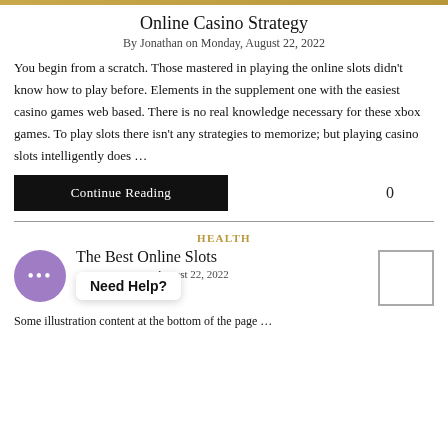Online Casino Strategy
By Jonathan on Monday, August 22, 2022
You begin from a scratch. Those mastered in playing the online slots didn't know how to play before. Elements in the supplement one with the easiest casino games web based. There is no real knowledge necessary for these xbox games. To play slots there isn't any strategies to memorize; but playing casino slots intelligently does …
Continue Reading   0
HEALTH
The Best Online Slots
By Jonathan, August 22, 2022
[Figure (illustration): Purple chat/messenger avatar circle with three dots, and a 'Need Help?' speech bubble overlay]
Some illustration content at bottom of page